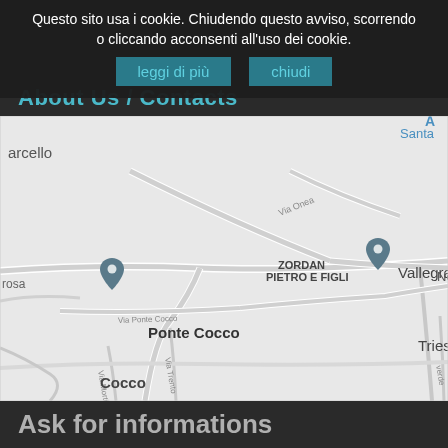Questo sito usa i cookie. Chiudendo questo avviso, scorrendo o cliccando acconsenti all'uso dei cookie.
leggi di più   chiudi
About Us / Contacts
[Figure (map): Google Maps view showing locations including Vallegrande, Ponte Cocco, Cocco, Trieste, Pantiere, Biolo, Idee Cocco Italia, Autotrasporti F.lli Renzi, ZORDAN PIETRO E FIGLI. Roads include Via Onea, Via Ponte Cocco, Via Morti, Via Trento. Location pins visible at several businesses.]
Ask for informations